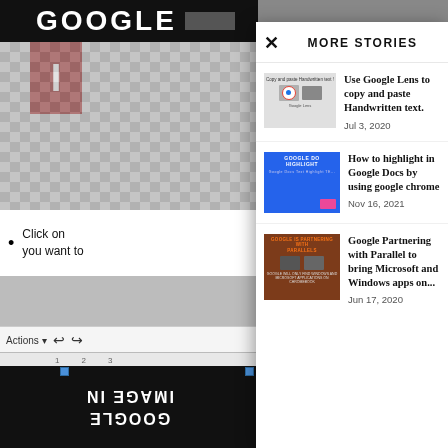[Figure (screenshot): Background showing Google Docs interface with checkerboard pattern, a dark header with 'GOOGLE' text, and a bullet point partially visible reading 'Click on ... you want to']
MORE STORIES
[Figure (screenshot): Thumbnail for Google Lens article showing handwritten text copy-paste demo]
Use Google Lens to copy and paste Handwritten text.
Jul 3, 2020
[Figure (screenshot): Thumbnail for Google Docs highlight article showing blue header with GOOGLE DOCS HIGHLIGHT text]
How to highlight in Google Docs by using google chrome
Nov 16, 2021
[Figure (screenshot): Thumbnail for Google Partnering article showing two laptops]
Google Partnering with Parallel to bring Microsoft and Windows apps on...
Jun 17, 2020
[Figure (screenshot): Inverted/mirrored text at bottom reading IMAGE IN GOOGLE]